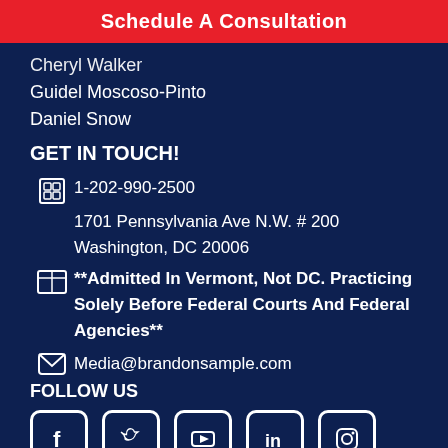Schedule A Consultation
Cheryl Walker
Guidel Moscoso-Pinto
Daniel Snow
GET IN TOUCH!
1-202-990-2500
1701 Pennsylvania Ave N.W. # 200
Washington, DC 20006
**Admitted In Vermont, Not DC. Practicing Solely Before Federal Courts And Federal Agencies**
Media@brandonsample.com
FOLLOW US
[Figure (illustration): Social media icons: Facebook, Twitter, YouTube, LinkedIn, Instagram — white icons in rounded square outlines]